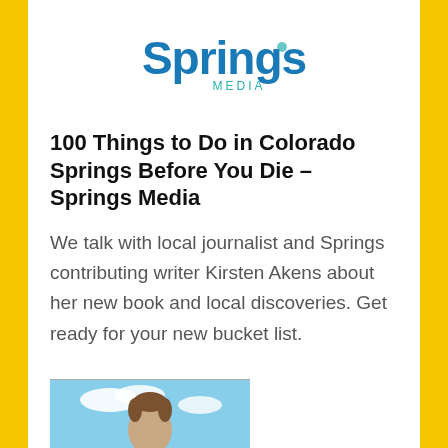[Figure (logo): Springs Media logo with 'Springs' in large blue text and 'MEDIA' in smaller teal text below]
100 Things to Do in Colorado Springs Before You Die – Springs Media
We talk with local journalist and Springs contributing writer Kirsten Akens about her new book and local discoveries. Get ready for your new bucket list.
[Figure (photo): Partial photo of a person with sky in the background, cropped at the bottom of the page]